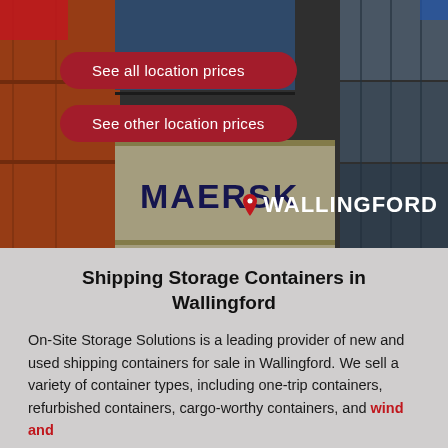[Figure (photo): Background photo of stacked shipping containers including a visible Maersk container, with overlaid UI buttons and a 'Wallingford' location label in the hero section.]
Shipping Storage Containers in Wallingford
On-Site Storage Solutions is a leading provider of new and used shipping containers for sale in Wallingford. We sell a variety of container types, including one-trip containers, refurbished containers, cargo-worthy containers, and wind and